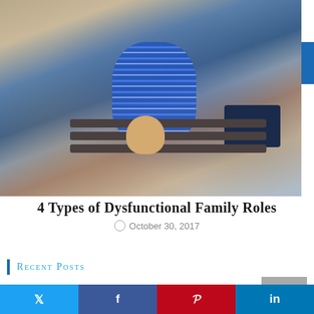[Figure (photo): Child with curly brown hair seen from behind, wearing a blue and white striped long-sleeve shirt, sitting on a wooden bench outdoors in a busy street/shopping area, holding a small stuffed toy dog in a gray sweater. Blurred crowd and storefronts in background.]
4 Types of Dysfunctional Family Roles
October 30, 2017
Recent Posts